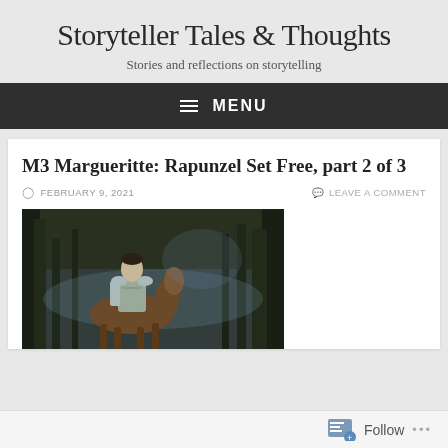Storyteller Tales & Thoughts
Stories and reflections on storytelling
≡ MENU
M3 Margueritte: Rapunzel Set Free, part 2 of 3
FEBRUARY 9, 2021   LEAVE A COMMENT
[Figure (photo): A knight in armor on horseback in a dark forest setting]
Follow ...